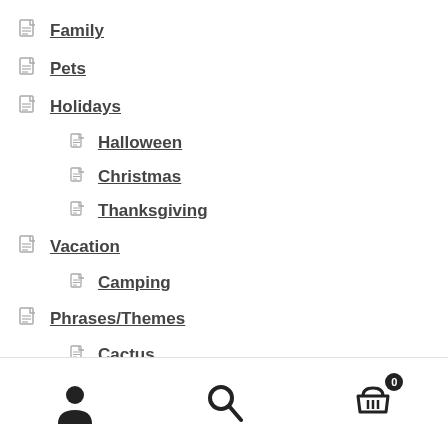Family
Pets
Holidays
Halloween
Christmas
Thanksgiving
Vacation
Camping
Phrases/Themes
Cactus
Coffee
wine
Mermaid
User | Search | Cart (0)